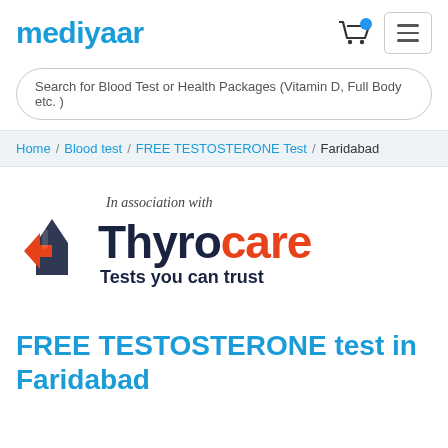mediyaar
Search for Blood Test or Health Packages (Vitamin D, Full Body etc. )
Home / Blood test / FREE TESTOSTERONE Test / Faridabad
[Figure (logo): Thyrocare logo with text 'In association with Thyrocare - Tests you can trust']
FREE TESTOSTERONE test in Faridabad